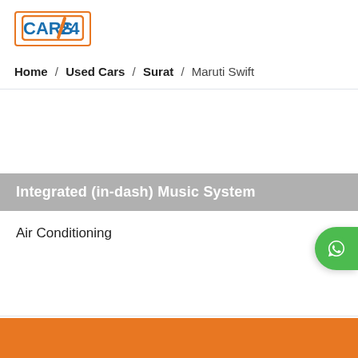[Figure (logo): CARS24 logo with orange border and blue text, orange diagonal slash]
Home / Used Cars / Surat / Maruti Swift
Integrated (in-dash) Music System
Air Conditioning
[Figure (illustration): WhatsApp green floating button on right side]
[Figure (other): Orange bottom call-to-action button bar]